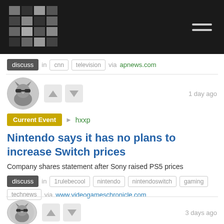Navigation bar with logo and hamburger menu
discuss  in  cnn  television  via apnews.com
[Figure (photo): Cat avatar with sunglasses, circular profile picture]
1 day ago
Current Event  ▶  hxxp
Nintendo says it has no plans to increase Switch prices
Company shares statement after Sony raised PS5 prices
discuss  in  1rulebecool  nintendo  nintendoswitch  gaming  technews  via www.videogameschronicle.com
[Figure (photo): Cat avatar with sunglasses, circular profile picture]
3 days ago